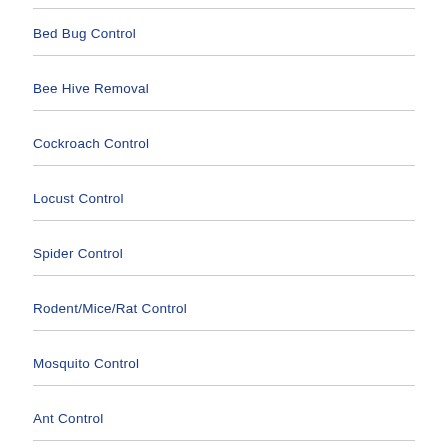Bed Bug Control
Bee Hive Removal
Cockroach Control
Locust Control
Spider Control
Rodent/Mice/Rat Control
Mosquito Control
Ant Control